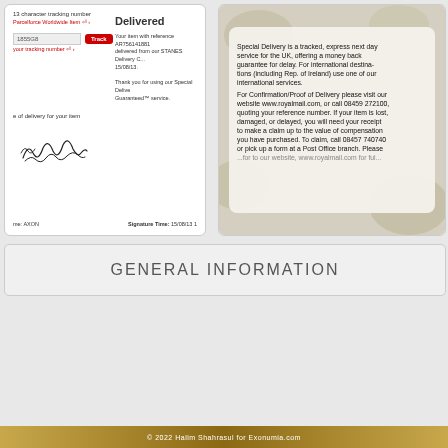[Figure (screenshot): Royal Mail tracking screenshot showing 'Delivered' status for item AR756141881, delivered from STANES Delivery Centre on 15/08/13, with tracking input field showing '1855G8' and Track button, plus 'your tracking number' link. Bottom section shows signature area with handwritten signature, labeled 'me: AXON' and 'Signature Time: 15/08/13']
[Figure (photo): Photograph of a Royal Mail Special Delivery information card. Text reads: 'Special Delivery is a tracked, express next day service for the UK, offering a money back guarantee for delay. For international destinations (including Rep. of Ireland) use one of our international services. For Confirmation/Proof of Delivery please visit our website www.royalmail.com, or call 08459 272100, quoting your reference number. If your item is lost, damaged, or delayed, you will need your receipt to make a claim up to the value of compensation you have purchased. To claim, call 08457 740740 or pick up a form at a Post Office branch. Please ...']
GENERAL INFORMATION
© 2022 Halim Shahrasul for Exonumia.com